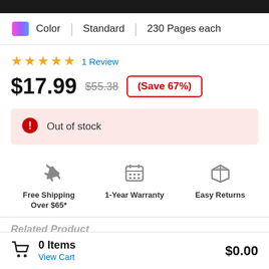Color | Standard | 230 Pages each
★★★★★ 1 Review
$17.99  $55.38  (Save 67%)
Out of stock
Free Shipping Over $65*
1-Year Warranty
Easy Returns
0 Items  View Cart  $0.00